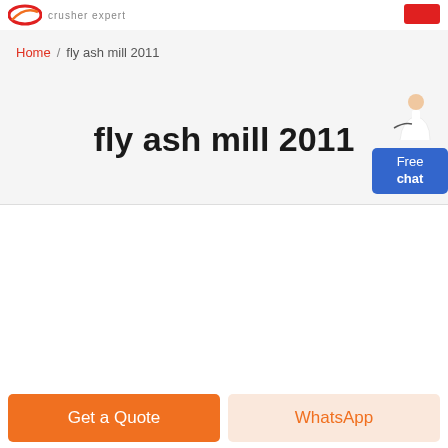crusher expert
Home / fly ash mill 2011
fly ash mill 2011
[Figure (photo): Industrial cone crusher/mill machinery photographed from below looking up inside a factory/warehouse, showing blue and red mechanical components against a concrete ceiling with structural beams.]
Get a Quote
WhatsApp